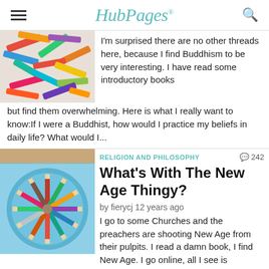HubPages
[Figure (photo): Photo of colorful crayons scattered on a surface]
I'm surprised there are no other threads here, because I find Buddhism to be very interesting.  I have read some introductory books but find them overwhelming.  Here is what I really want to know:If I were a Buddhist, how would I practice my beliefs in daily life?  What would I...
[Figure (photo): Photo of colored pencils arranged in a circle viewed from above on a blue plate]
RELIGION AND PHILOSOPHY
What's With The New Age Thingy?
by fierycj 12 years ago
I go to some Churches and the preachers are shooting New Age from their pulpits. I read a damn book, I find New Age. I go online, all I see is New Age. Hubbers talk New Age. Everywhere New Age! Is it just some new spiritual craze, like say yoga or meditation, or is it part of scriptural prophecy...